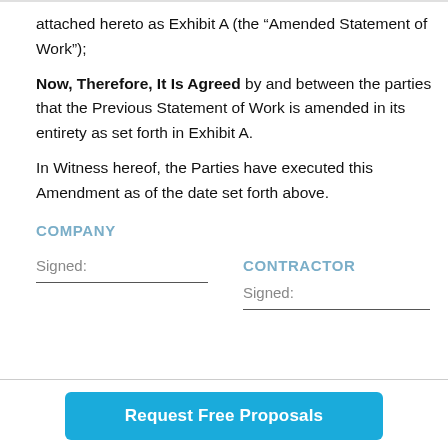attached hereto as Exhibit A (the “Amended Statement of Work”);
Now, Therefore, It Is Agreed by and between the parties that the Previous Statement of Work is amended in its entirety as set forth in Exhibit A.
In Witness hereof, the Parties have executed this Amendment as of the date set forth above.
COMPANY
CONTRACTOR
Signed:
Signed:
Request Free Proposals